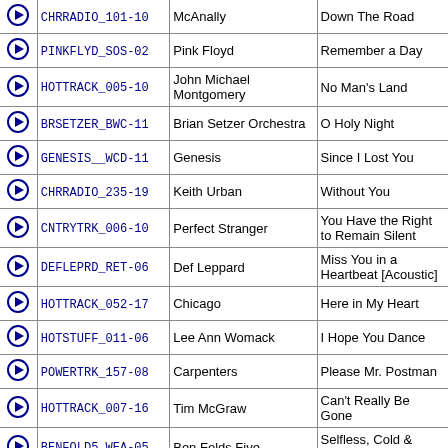|  | ID | Artist | Song |
| --- | --- | --- | --- |
| ▶ | CHRRADIO_101-10 | McAnally | Down The Road |
| ▶ | PINKFLYD_SOS-02 | Pink Floyd | Remember a Day |
| ▶ | HOTTRACK_005-10 | John Michael Montgomery | No Man's Land |
| ▶ | BRSETZER_BWC-11 | Brian Setzer Orchestra | O Holy Night |
| ▶ | GENESIS__WCD-11 | Genesis | Since I Lost You |
| ▶ | CHRRADIO_235-19 | Keith Urban | Without You |
| ▶ | CNTRYTRK_006-10 | Perfect Stranger | You Have the Right to Remain Silent |
| ▶ | DEFLEPRD_RET-06 | Def Leppard | Miss You in a Heartbeat [Acoustic] |
| ▶ | HOTTRACK_052-17 | Chicago | Here in My Heart |
| ▶ | HOTSTUFF_011-06 | Lee Ann Womack | I Hope You Dance |
| ▶ | POWERTRK_157-08 | Carpenters | Please Mr. Postman |
| ▶ | HOTTRACK_007-16 | Tim McGraw | Can't Really Be Gone |
| ▶ | BENFOLD5_WEA-05 | Ben Folds Five | Selfless, Cold & Composed |
| ▶ | XMASJAZZ_TIS-05 | Jennifer Ryan | Silver Bells [Jazz Version] |
| ▶ | POWERTRK_119-16 | Peter Cetera | Forever Tonight |
| ▶ | CHILWACK_GH1-10 | Chilliwack | California Girl |
| ▶ | GENESIS__INV-04 | Genesis | In Too Deep |
| ▶ | BPAISLEY_MUD-14 | Brad Paisley | Is It Raining at Your House |
| ▶ | HOTTRACK_006-19 | Jeff Carson | Not on Your Love |
| ▶ | HOTTROCK_002-05 | Sting | Let Your Soul Be Your Pilot |
| ▶ | RAWLCROS_RNR-02 | Rawlins Cross | Don't You Be the One |